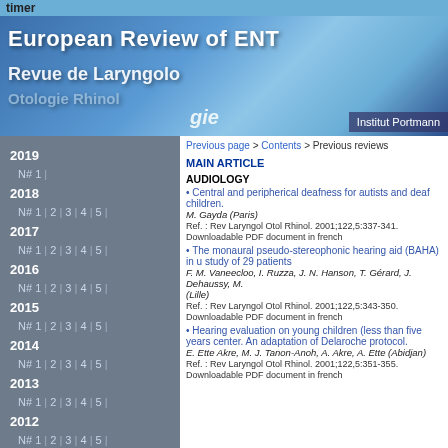timer
[Figure (illustration): Banner for European Review of ENT / Revue de Laryngologie journal with blue gradient background and Institut Portmann logo]
Previous page > Contents > Previous reviews
2019 N# 1 |
2018 N# 1 | 2 | 3 | 4 | 5 |
2017 N# 1 | 2 | 3 | 4 | 5 |
2016 N# 1 | 2 | 3 | 4 | 5 |
2015 N# 1 | 2 | 3 | 4 | 5 |
2014 N# 1 | 2 | 3 | 4 | 5 |
2013 N# 1 | 2 | 3 | 4 | 5 |
2012 N# 1 | 2 | 3 | 4 | 5 |
2011 N# 1 | 2 | 3 | 4 | 5 |
2010 N# 1 | 2 | 3 | 4 | 5 |
2009
MAIN ARTICLE
AUDIOLOGY
• Central and peripherical deafness for autists and deaf children.
M. Gayda (Paris)
Ref. : Rev Laryngol Otol Rhinol. 2001;122,5:337-341.
Downloadable PDF document in french
• The monaural pseudo-stereophonic hearing aid (BAHA) in u study of 29 patients
F. M. Vaneecloo, I. Ruzza, J. N. Hanson, T. Gérard, J. Dehaussy, M. (Lille)
Ref. : Rev Laryngol Otol Rhinol. 2001;122,5:343-350.
Downloadable PDF document in french
• Hearing evaluation on young children (less than five years center. An adaptation of Delaroche protocol.
E. Ette Akre, M. J. Tanon-Anoh, A. Akre, A. Ette (Abidjan)
Ref. : Rev Laryngol Otol Rhinol. 2001;122,5:351-355.
Downloadable PDF document in french